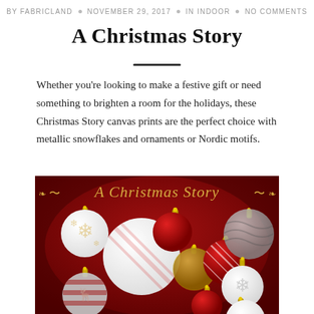BY FABRICLAND • NOVEMBER 29, 2017 • IN INDOOR • NO COMMENTS
A Christmas Story
Whether you're looking to make a festive gift or need something to brighten a room for the holidays, these Christmas Story canvas prints are the perfect choice with metallic snowflakes and ornaments or Nordic motifs.
[Figure (illustration): A Christmas Story decorative image with ornamental Christmas balls (red, gold, white, silver, with Nordic motifs and snowflake patterns) on a dark red background, with gold cursive text 'A Christmas Story' at the top and decorative scrollwork.]